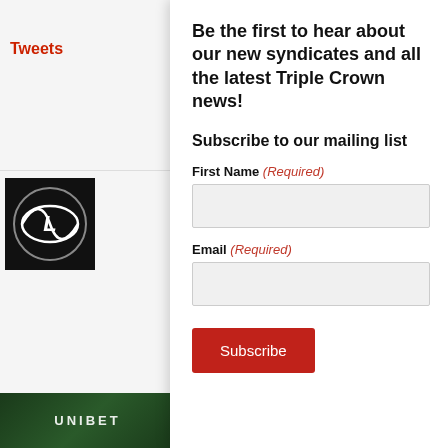Tweets
[Figure (logo): Lexus logo — white L-shaped emblem on black background]
Follo
[Figure (photo): Green patterned background with UNIBET text]
Be the first to hear about our new syndicates and all the latest Triple Crown news!
Subscribe to our mailing list
First Name (Required)
Email (Required)
Subscribe